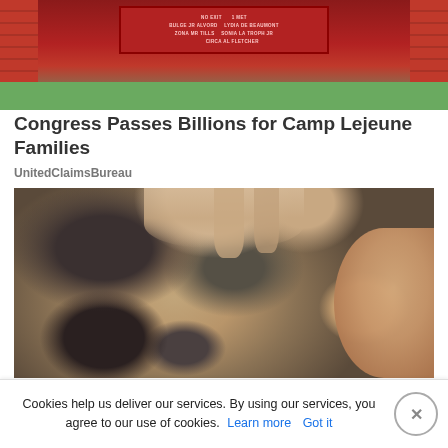[Figure (photo): Red brick monument sign at Camp Lejeune with white text, surrounded by green grass and trees]
Congress Passes Billions for Camp Lejeune Families
UnitedClaimsBureau
[Figure (photo): Close-up of a man's scalp showing psoriasis symptoms, with hands parting gray hair to reveal irritated skin near the ear]
What Causes Psoriasis of The Scalp? It's Not What
Cookies help us deliver our services. By using our services, you agree to our use of cookies. Learn more  Got it